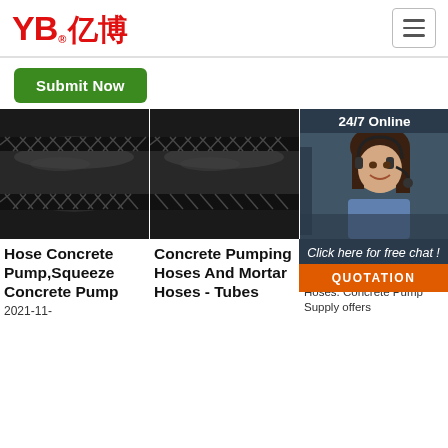[Figure (logo): YB亿博 logo in red with registered trademark symbol]
[Figure (illustration): Hamburger menu icon (three horizontal lines) in a rounded rectangle border]
[Figure (illustration): Green Submit Now button]
[Figure (photo): Close-up photo of black rubber concrete pump hose, first product]
[Figure (photo): Close-up photo of black rubber concrete pump hose, second product]
[Figure (photo): Customer service agent (woman with headset) for 24/7 Online chat widget]
24/7 Online
Click here for free chat !
QUOTATION
Hose Concrete Pump,Squeeze Concrete Pump
2021-11-
Concrete Pumping Hoses And Mortar Hoses - Tubes
Hoses - Concrete Pump Supply
Hoses. Concrete Pump Supply offers